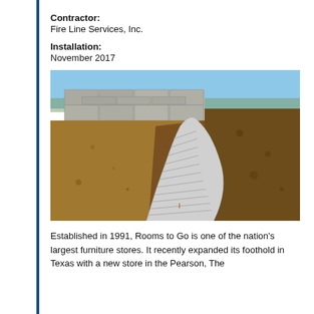Contractor: Fire Line Services, Inc.
Installation: November 2017
[Figure (photo): Outdoor construction site photo showing a large corrugated pipe or conduit laid in an earthen trench, with stacked concrete blocks or precast segments in the background, blue sky visible, dirt mounds on either side of the trench.]
Established in 1991, Rooms to Go is one of the nation's largest furniture stores. It recently expanded its foothold in Texas with a new store in the Pearson, The...